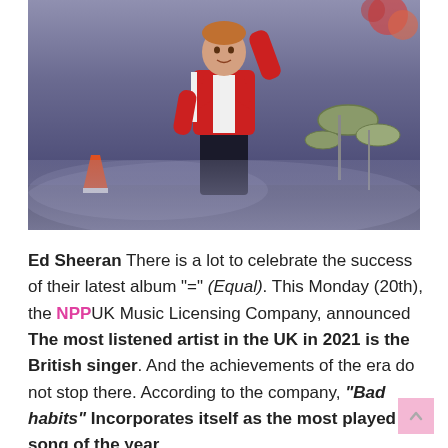[Figure (photo): Ed Sheeran performing on stage wearing a red varsity jacket and white t-shirt, with a drum kit visible in the background and stage smoke/lighting effects]
Ed Sheeran There is a lot to celebrate the success of their latest album "="  (Equal). This Monday (20th), the NPPUK Music Licensing Company, announced The most listened artist in the UK in 2021 is the British singer. And the achievements of the era do not stop there. According to the company, "Bad habits" Incorporates itself as the most played song of the year.